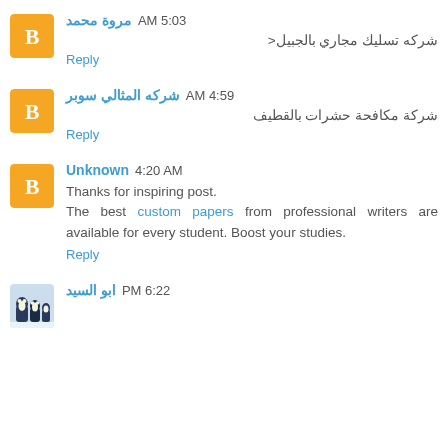مروة محمد 5:03 AM
شركه تسليك مجاري بالجبيل<
Reply
شركه المثالي سوبر 4:59 AM
شركة مكافحة حشرات بالقطيف
Reply
Unknown 4:20 AM
Thanks for inspiring post.
The best custom papers from professional writers are available for every student. Boost your studies.
Reply
ابو السيد 6:22 PM